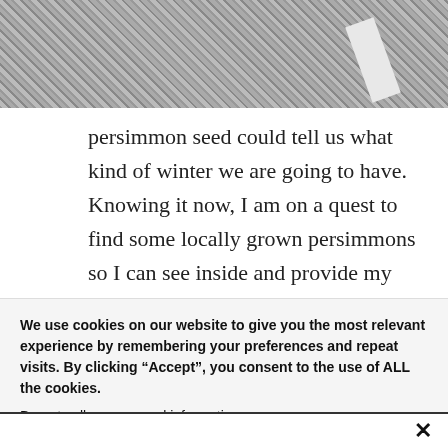[Figure (photo): Close-up photo of gravel or small stones with a white strip/object visible, partially cropped at top of page]
persimmon seed could tell us what kind of winter we are going to have. Knowing it now, I am on a quest to find some locally grown persimmons so I can see inside and provide my own prognostication about the winter. How does the persimmon predict the winter? It all has to do
We use cookies on our website to give you the most relevant experience by remembering your preferences and repeat visits. By clicking “Accept”, you consent to the use of ALL the cookies.
Do not sell my personal information.
Cookie Settings  Accept